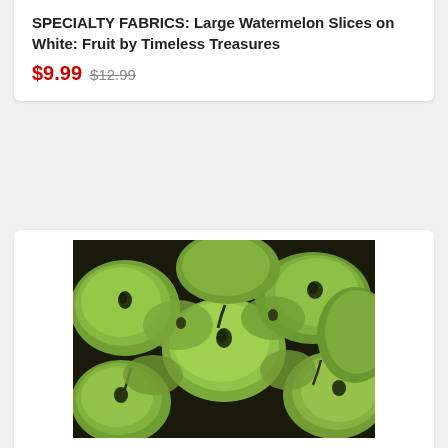SPECIALTY FABRICS: Large Watermelon Slices on White: Fruit by Timeless Treasures
$9.99 $12.99
[Figure (photo): Close-up photo of green quince fruit fabric pattern on black background, showing packed/clustered green fruit shapes with dark details]
PRODUCT
SPECIALTY FABRICS: Packed Green Quince Fruit on Black
$9.99 $12.99